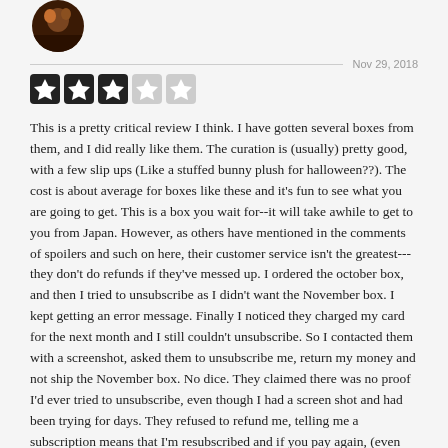[Figure (photo): User avatar profile photo — dark circular image]
Nov 29, 2018
[Figure (other): 3 out of 5 star rating shown as filled and empty star icons]
This is a pretty critical review I think. I have gotten several boxes from them, and I did really like them. The curation is (usually) pretty good, with a few slip ups (Like a stuffed bunny plush for halloween??). The cost is about average for boxes like these and it's fun to see what you are going to get. This is a box you wait for--it will take awhile to get to you from Japan. However, as others have mentioned in the comments of spoilers and such on here, their customer service isn't the greatest---they don't do refunds if they've messed up. I ordered the october box, and then I tried to unsubscribe as I didn't want the November box. I kept getting an error message. Finally I noticed they charged my card for the next month and I still couldn't unsubscribe. So I contacted them with a screenshot, asked them to unsubscribe me, return my money and not ship the November box. No dice. They claimed there was no proof I'd ever tried to unsubscribe, even though I had a screen shot and had been trying for days. They refused to refund me, telling me a subscription means that I'm resubscribed and if you pay again, (even though I attempted to unsubscribe) no dice. That's really shady. They